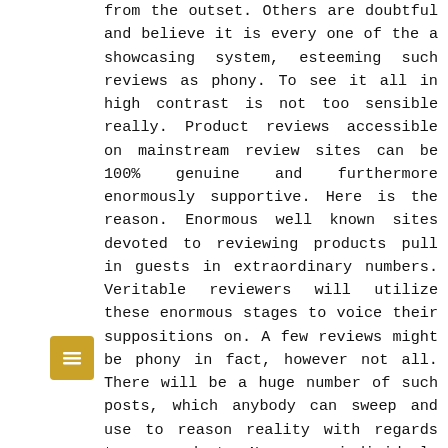from the outset. Others are doubtful and believe it is every one of the a showcasing system, esteeming such reviews as phony. To see it all in high contrast is not too sensible really. Product reviews accessible on mainstream review sites can be 100% genuine and furthermore enormously supportive. Here is the reason. Enormous well known sites devoted to reviewing products pull in guests in extraordinary numbers. Veritable reviewers will utilize these enormous stages to voice their suppositions on. A few reviews might be phony in fact, however not all. There will be a huge number of such posts, which anybody can sweep and use to reason reality with regards to a product. Numerous individuals appreciate posting about their encounters.

Product reviews are posted by customers who have bought and utilized the individual things or services. They may have utilized these for an
[Figure (other): Gold/yellow square button with a menu/list icon (three horizontal lines) in white, positioned bottom-left of the page]